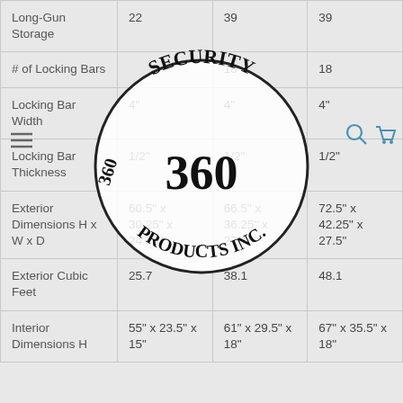|  | Col1 | Col2 | Col3 |
| --- | --- | --- | --- |
| Long-Gun Storage | 22 | 39 | 39 |
| # of Locking Bars |  | 18 | 18 |
| Locking Bar Width | 4" | 4" | 4" |
| Locking Bar Thickness | 1/2" | 1/2" | 1/2" |
| Exterior Dimensions H x W x D | 60.5" x 30.25" x 24.75" | 66.5" x 36.25" x 27.75" | 72.5" x 42.25" x 27.5" |
| Exterior Cubic Feet | 25.7 | 38.1 | 48.1 |
| Interior Dimensions H | 55" x 23.5" x 15" | 61" x 29.5" x 18" | 67" x 35.5" x 18" |
[Figure (logo): 360 Security Products Inc. circular logo with bold text]